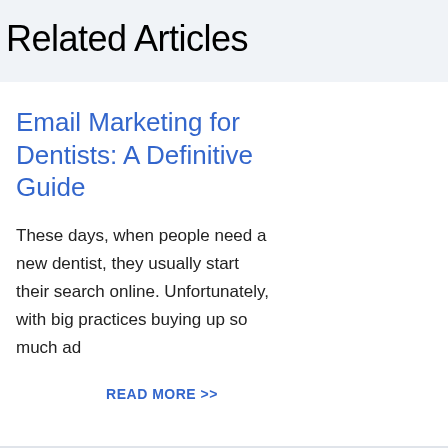Related Articles
Email Marketing for Dentists: A Definitive Guide
These days, when people need a new dentist, they usually start their search online. Unfortunately, with big practices buying up so much ad
READ MORE >>